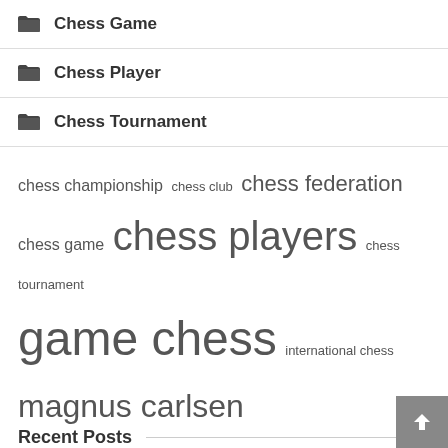Chess Game
Chess Player
Chess Tournament
chess championship  chess club  chess federation  chess game  chess players  chess tournament  game chess  international chess  magnus carlsen  play chess  playing chess  queen gambit  united states  world champion  world chess
Recent Posts